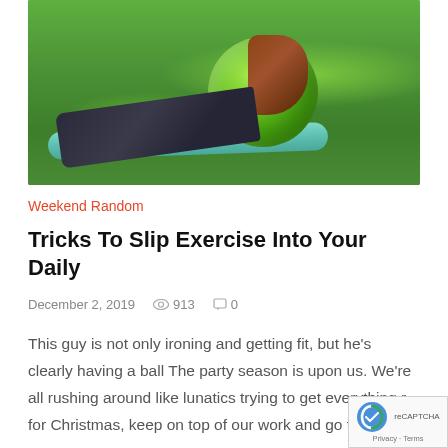[Figure (photo): Woman exercising outdoors on a teal yoga mat with a large green exercise ball, lying on grass]
Weekend Random
Tricks To Slip Exercise Into Your Daily
December 2, 2019   👁 913   💬 0
This guy is not only ironing and getting fit, but he's clearly having a ball The party season is upon us. We're all rushing around like lunatics trying to get everything r for Christmas, keep on top of our work and go to all